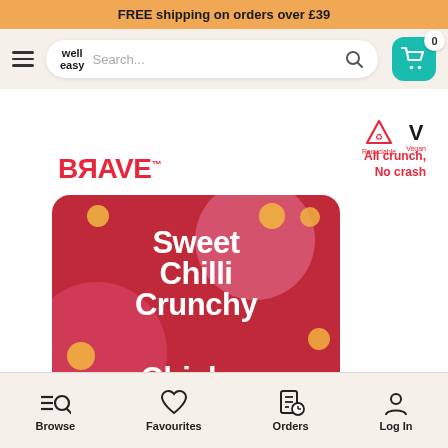FREE shipping on orders over £39
[Figure (screenshot): Well Easy website navbar with hamburger menu, search bar with logo, and teal shopping cart icon with badge showing 0]
[Figure (photo): BRAVE brand product packaging showing Sweet Chilli Crunchy Chickpeas on a dark red card with pink circles and golden chickpea pieces. Recyclable and Vegan badges top right. Tagline: All crunch, No crash]
Browse   Favourites   Orders   Log In